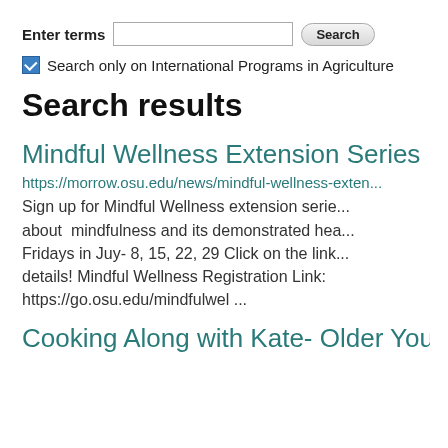Enter terms [search input] Search
Search only on International Programs in Agriculture
Search results
Mindful Wellness Extension Series
https://morrow.osu.edu/news/mindful-wellness-exten...
Sign up for Mindful Wellness extension serie... about mindfulness and its demonstrated hea... Fridays in Juy- 8, 15, 22, 29 Click on the link... details! Mindful Wellness Registration Link: https://go.osu.edu/mindfulwel ...
Cooking Along with Kate- Older Yout...